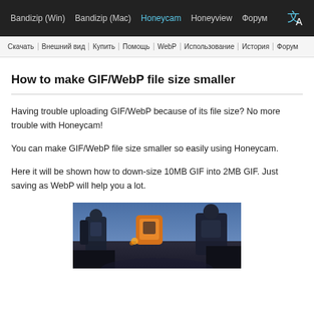Bandizip (Win) | Bandizip (Mac) | Honeycam | Honeyview | Форум
Скачать | Внешний вид | Купить | Помощь | WebP | Использование | История | Форум
How to make GIF/WebP file size smaller
Having trouble uploading GIF/WebP because of its file size? No more trouble with Honeycam!
You can make GIF/WebP file size smaller so easily using Honeycam.
Here it will be shown how to down-size 10MB GIF into 2MB GIF. Just saving as WebP will help you a lot.
[Figure (screenshot): Screenshot showing a video game scene with a robot/mech character holding a device, used as a demonstration GIF/WebP image example in Honeycam.]